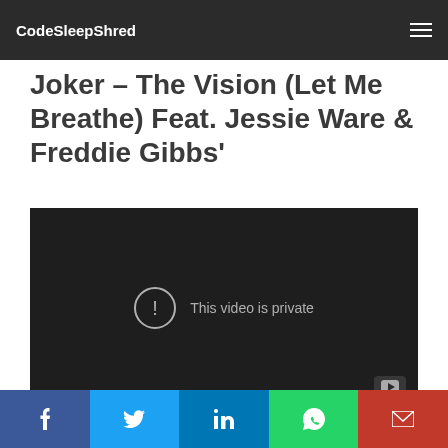CodeSleepShred
Joker – The Vision (Let Me Breathe) Feat. Jessie Ware & Freddie Gibbs'
[Figure (screenshot): YouTube embedded video player showing 'This video is private' message on a dark background, with a YouTube logo watermark in the bottom right corner.]
Fresh cut featuring Jessie Ware and Freddie Gibbs hit that…
Facebook | Twitter | LinkedIn | WhatsApp | Email